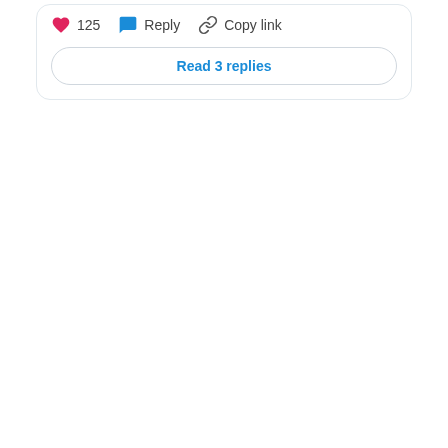[Figure (screenshot): Social media comment card showing action bar with heart icon and count 125, Reply button, Copy link button, and a 'Read 3 replies' button below.]
125  Reply  Copy link
Read 3 replies